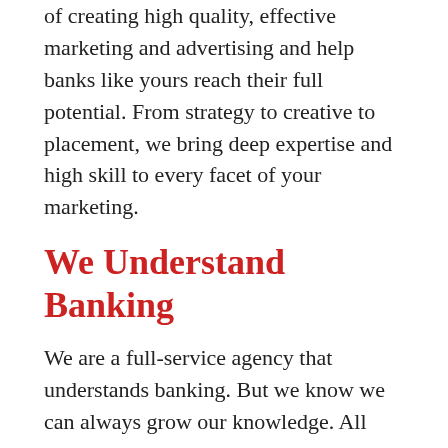of creating high quality, effective marketing and advertising and help banks like yours reach their full potential. From strategy to creative to placement, we bring deep expertise and high skill to every facet of your marketing.
We Understand Banking
We are a full-service agency that understands banking. But we know we can always grow our knowledge. All Mabus Agency team members are required to participate in ongoing bank training through the American Bankers Association. That way, we proactively ensure anyone at Mabus Agency understands what makes the industry tick —from banking products to legal oversight and